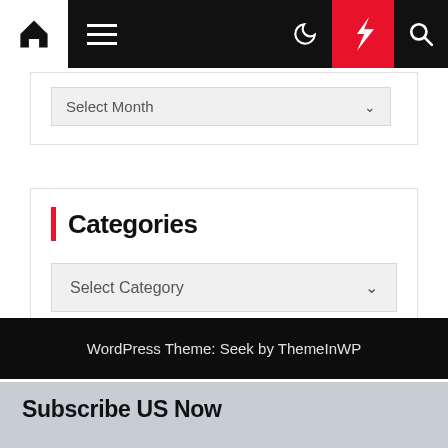Navigation bar with home, menu, moon, bolt, and search icons
Select Month
Categories
Select Category
WordPress Theme: Seek by ThemeInWP
Subscribe US Now